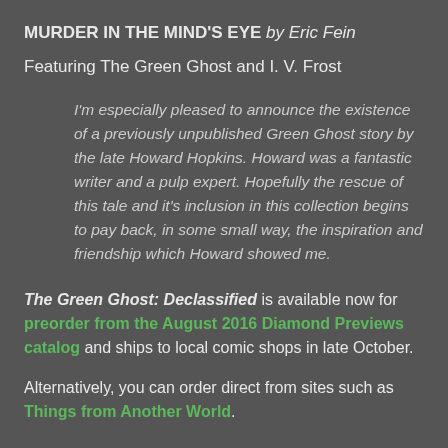MURDER IN THE MIND'S EYE by Eric Fein
Featuring The Green Ghost and I. V. Frost
I'm especially pleased to announce the existence of a previously unpublished Green Ghost story by the late Howard Hopkins. Howard was a fantastic writer and a pulp expert. Hopefully the rescue of this tale and it's inclusion in this collection begins to pay back, in some small way, the inspiration and friendship which Howard showed me.
The Green Ghost: Declassified is available now for preorder from the August 2016 Diamond Previews catalog and ships to local comic shops in late October.
Alternatively, you can order direct from sites such as Things from Another World.